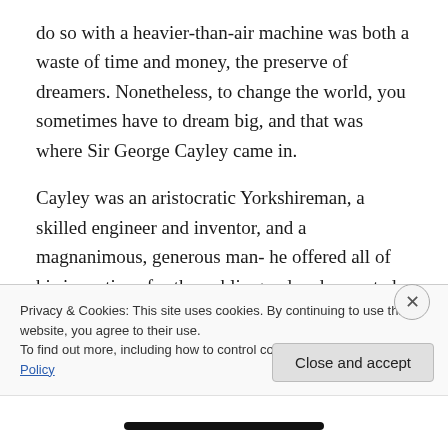do so with a heavier-than-air machine was both a waste of time and money, the preserve of dreamers. Nonetheless, to change the world, you sometimes have to dream big, and that was where Sir George Cayley came in.
Cayley was an aristocratic Yorkshireman, a skilled engineer and inventor, and a magnanimous, generous man- he offered all of his inventions for the public good and expected no payment for them. He dabbled in a number of fields, including seatbelts, lifeboats, caterpillar tracks, prosthetics, ballistics and railway signalling. In his
Privacy & Cookies: This site uses cookies. By continuing to use this website, you agree to their use.
To find out more, including how to control cookies, see here: Cookie Policy
Close and accept